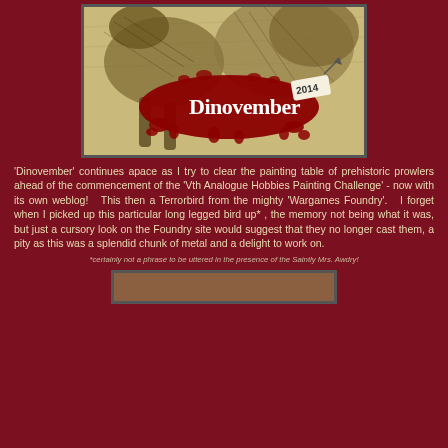[Figure (illustration): Dinovember 2014 logo/banner image showing prehistoric creatures (dinosaurs/birds) in an engraving style with red blood-splatter text reading 'Dinovember 2014']
'Dinovember' continues apace as I try to clear the painting table of prehistoric prowlers ahead of the commencement of the 'Vth Analogue Hobbies Painting Challenge' - now with its own weblog!  This then a Terrorbird from the mighty 'Wargames Foundry'.  I forget when I picked up this particular long legged bird up* , the memory not being what it was, but just a cursory look on the Foundry site would suggest that they no longer cast them, a pity as this was a splendid chunk of metal and a delight to work on.
*certainly not a phrase to be uttered in the presence of the Saintly Mrs. Awdry!
[Figure (photo): Partial image at bottom, appears to be a photograph of a painted miniature figure]